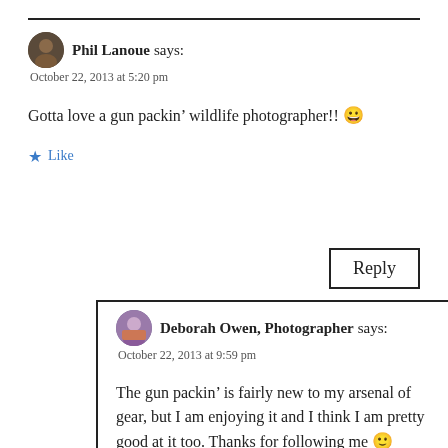Phil Lanoue says:
October 22, 2013 at 5:20 pm
Gotta love a gun packin’ wildlife photographer!! 😀
Like
Reply
Deborah Owen, Photographer says:
October 22, 2013 at 9:59 pm
The gun packin’ is fairly new to my arsenal of gear, but I am enjoying it and I think I am pretty good at it too. Thanks for following me 🙂